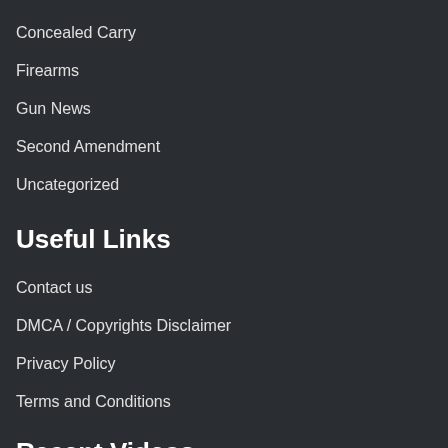Concealed Carry
Firearms
Gun News
Second Amendment
Uncategorized
Useful Links
Contact us
DMCA / Copyrights Disclaimer
Privacy Policy
Terms and Conditions
Recent Videos